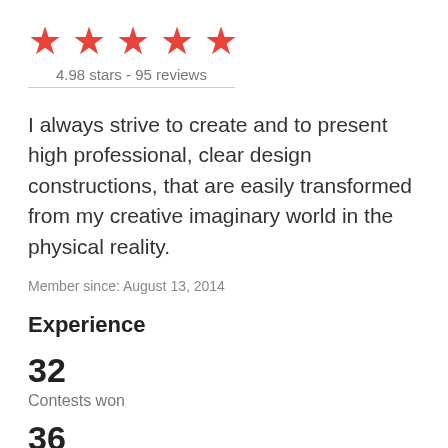[Figure (other): Five red star rating icons in a row]
4.98 stars - 95 reviews
I always strive to create and to present high professional, clear design constructions, that are easily transformed from my creative imaginary world in the physical reality.
Member since: August 13, 2014
Experience
32
Contests won
36